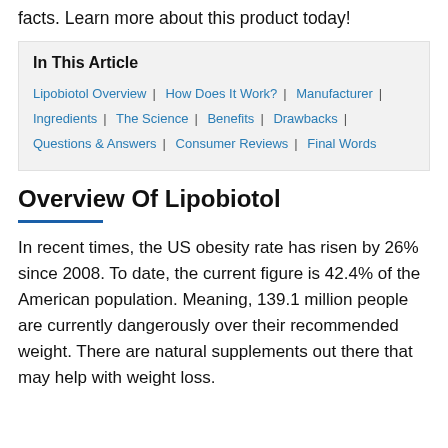facts. Learn more about this product today!
In This Article
Lipobiotol Overview  |  How Does It Work?  |  Manufacturer  |  Ingredients  |  The Science  |  Benefits  |  Drawbacks  |  Questions & Answers  |  Consumer Reviews  |  Final Words
Overview Of Lipobiotol
In recent times, the US obesity rate has risen by 26% since 2008. To date, the current figure is 42.4% of the American population. Meaning, 139.1 million people are currently dangerously over their recommended weight. There are natural supplements out there that may help with weight loss.